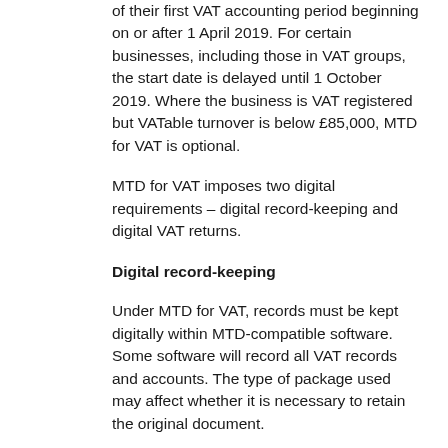of their first VAT accounting period beginning on or after 1 April 2019. For certain businesses, including those in VAT groups, the start date is delayed until 1 October 2019. Where the business is VAT registered but VATable turnover is below £85,000, MTD for VAT is optional.
MTD for VAT imposes two digital requirements – digital record-keeping and digital VAT returns.
Digital record-keeping
Under MTD for VAT, records must be kept digitally within MTD-compatible software. Some software will record all VAT records and accounts. The type of package used may affect whether it is necessary to retain the original document.
Where a business receives an invoice and enters